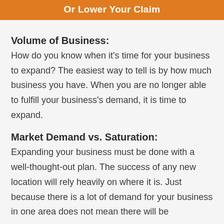Or Lower Your Claim
Volume of Business:
How do you know when it’s time for your business to expand? The easiest way to tell is by how much business you have. When you are no longer able to fulfill your business’s demand, it is time to expand.
Market Demand vs. Saturation:
Expanding your business must be done with a well-thought-out plan. The success of any new location will rely heavily on where it is. Just because there is a lot of demand for your business in one area does not mean there will be